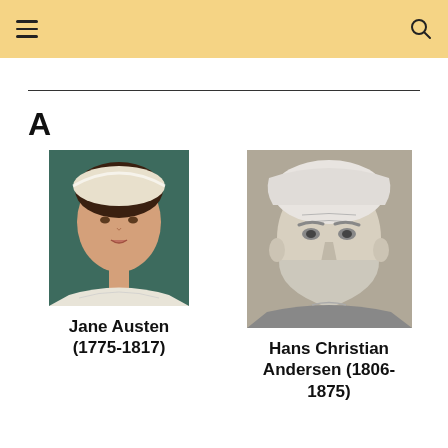Navigation header with hamburger menu and search icon
A
[Figure (photo): Portrait painting of Jane Austen, a young woman with dark curly hair and a white bonnet/headband, painted style]
Jane Austen (1775-1817)
[Figure (photo): Black and white photograph of Hans Christian Andersen, an elderly man with white hair]
Hans Christian Andersen (1806-1875)